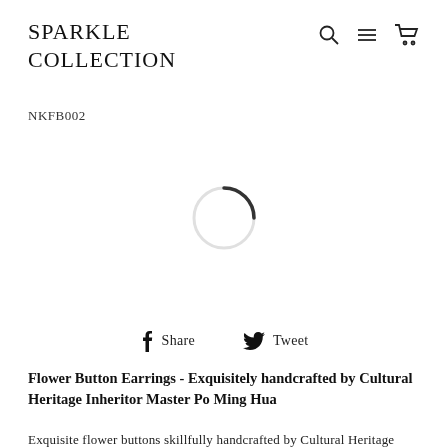SPARKLE COLLECTION
NKFB002
[Figure (other): Loading spinner — a circle outline with a dark arc at the top-right indicating loading state]
Share   Tweet
Flower Button Earrings - Exquisitely handcrafted by Cultural Heritage Inheritor Master Po Ming Hua
Exquisite flower buttons skillfully handcrafted by Cultural Heritage Inheritor Master Po adorn each cheongsam. Each pair of buttons is unique and corresponds to the theme of that particular dress.